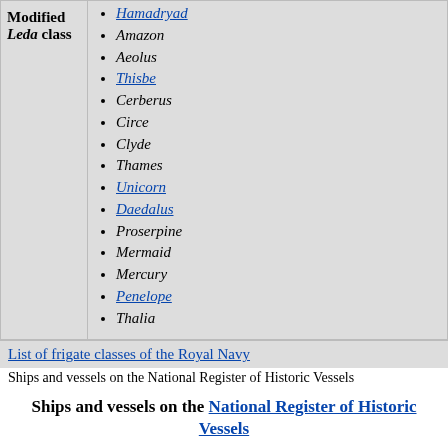| Modified Leda class | Ships |
| --- | --- |
| Modified Leda class | Hamadryad, Amazon, Aeolus, Thisbe, Cerberus, Circe, Clyde, Thames, Unicorn, Daedalus, Proserpine, Mermaid, Mercury, Penelope, Thalia |
List of frigate classes of the Royal Navy
Ships and vessels on the National Register of Historic Vessels
Ships and vessels on the National Register of Historic Vessels
Albion
Ardwina
Bloodhound
Britannia
Cambria